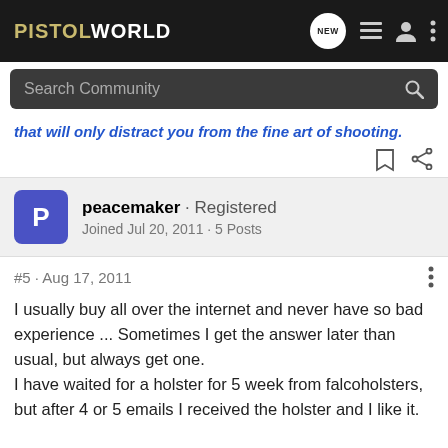PISTOLWORLD
that will only distract you from the fine art of shooting.
peacemaker · Registered
Joined Jul 20, 2011 · 5 Posts
#5 · Aug 17, 2011
I usually buy all over the internet and never have so bad experience ... Sometimes I get the answer later than usual, but always get one.
I have waited for a holster for 5 week from falcoholsters, but after 4 or 5 emails I received the holster and I like it.